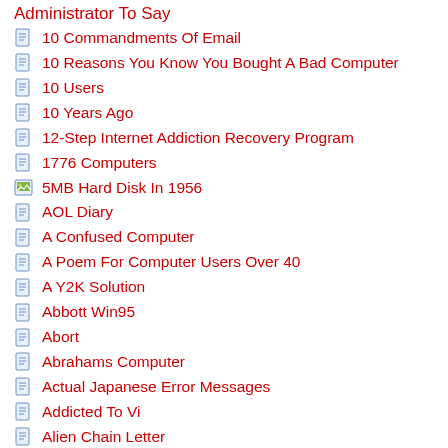Administrator To Say
10 Commandments Of Email
10 Reasons You Know You Bought A Bad Computer
10 Users
10 Years Ago
12-Step Internet Addiction Recovery Program
1776 Computers
5MB Hard Disk In 1956
AOL Diary
A Confused Computer
A Poem For Computer Users Over 40
A Y2K Solution
Abbott Win95
Abort
Abrahams Computer
Actual Japanese Error Messages
Addicted To Vi
Alien Chain Letter
Alphabet
Always Accessible